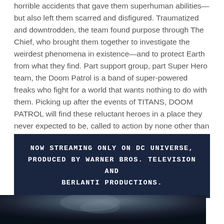horrible accidents that gave them superhuman abilities—but also left them scarred and disfigured. Traumatized and downtrodden, the team found purpose through The Chief, who brought them together to investigate the weirdest phenomena in existence—and to protect Earth from what they find. Part support group, part Super Hero team, the Doom Patrol is a band of super-powered freaks who fight for a world that wants nothing to do with them. Picking up after the events of TITANS, DOOM PATROL will find these reluctant heroes in a place they never expected to be, called to action by none other than Cyborg, who comes to them with a mission hard to refuse, but with a warning that is hard to ignore: their lives will never, ever be the same.
NOW STREAMING ONLY ON DC UNIVERSE, PRODUCED BY WARNER BROS. TELEVISION AND BERLANTI PRODUCTIONS.
[Figure (photo): Dark, moody black and white or desaturated photo of a figure, partially visible at the bottom of the page]